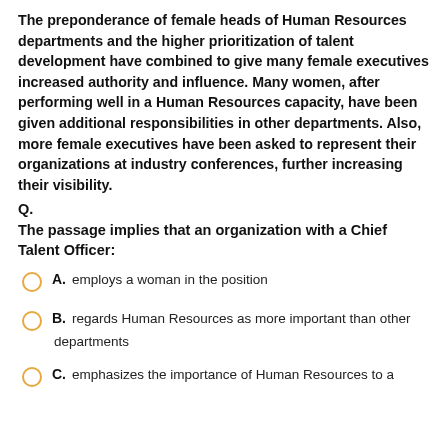The preponderance of female heads of Human Resources departments and the higher prioritization of talent development have combined to give many female executives increased authority and influence. Many women, after performing well in a Human Resources capacity, have been given additional responsibilities in other departments. Also, more female executives have been asked to represent their organizations at industry conferences, further increasing their visibility.
Q.
The passage implies that an organization with a Chief Talent Officer:
A. employs a woman in the position
B. regards Human Resources as more important than other departments
C. emphasizes the importance of Human Resources to a